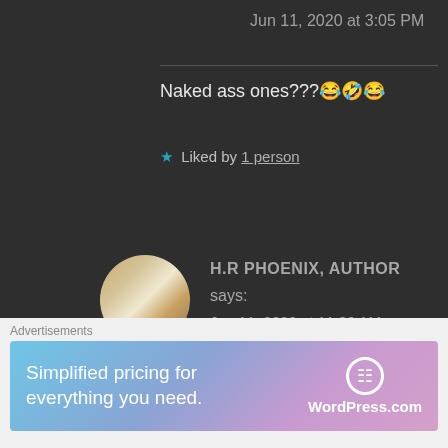Jun 11, 2020 at 3:05 PM
Naked ass ones???😂🤣😂
★ Liked by 1 person
H.R PHOENIX, AUTHOR says: Jun 11, 2020 at 11:36 AM
So, have you been to Piper Rockelles channel?
★ Liked by 1 person
Advertisements
Simplified pricing for everything you need. WordPress.com